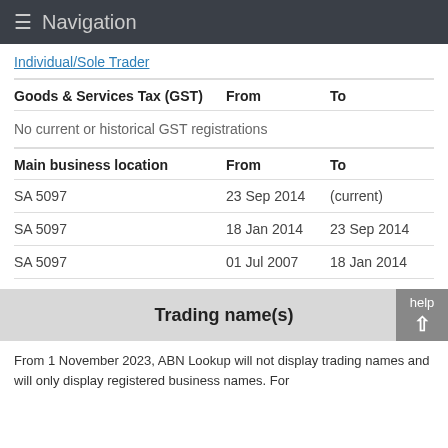Navigation
Individual/Sole Trader
| Goods & Services Tax (GST) | From | To |
| --- | --- | --- |
| No current or historical GST registrations |  |  |
| Main business location | From | To |
| --- | --- | --- |
| SA 5097 | 23 Sep 2014 | (current) |
| SA 5097 | 18 Jan 2014 | 23 Sep 2014 |
| SA 5097 | 01 Jul 2007 | 18 Jan 2014 |
Trading name(s)
From 1 November 2023, ABN Lookup will not display trading names and will only display registered business names. For